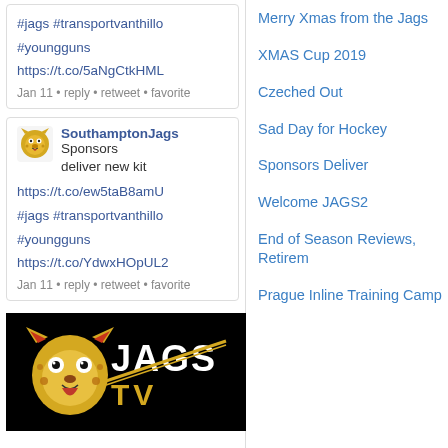#jags #transportvanthillo
#youngguns
https://t.co/5aNgCtkHML
Jan 11 • reply • retweet • favorite
SouthamptonJags Sponsors deliver new kit
https://t.co/ew5taB8amU
#jags #transportvanthillo
#youngguns
https://t.co/YdwxHOpUL2
Jan 11 • reply • retweet • favorite
[Figure (photo): Jags TV logo: jaguar mascot with text JAGS TV on black background]
Merry Xmas from the Jags
XMAS Cup 2019
Czeched Out
Sad Day for Hockey
Sponsors Deliver
Welcome JAGS2
End of Season Reviews, Retirem
Prague Inline Training Camp